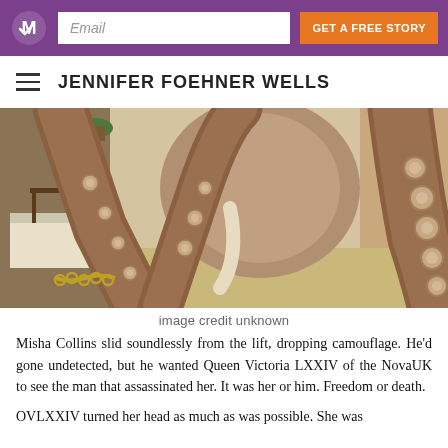Email | GET A FREE STORY
JENNIFER FOEHNER WELLS
[Figure (photo): Close-up photo of octopus tentacles with suckers inside a room setting with furniture in the background]
image credit unknown
Misha Collins slid soundlessly from the lift, dropping camouflage. He'd gone undetected, but he wanted Queen Victoria LXXIV of the NovaUK to see the man that assassinated her. It was her or him. Freedom or death.
OVLXXIV turned her head as much as was possible. She was